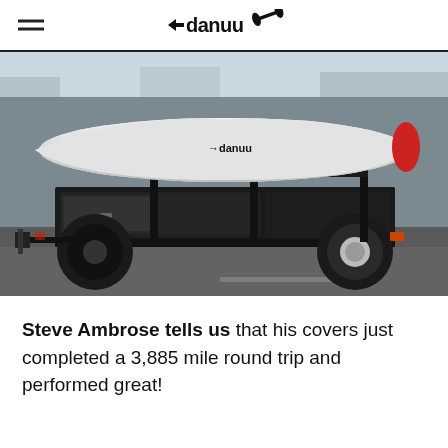danuu
[Figure (photo): A kayak with a white Danuu brand cover loaded on a black utility trailer with a spare tire and storage boxes, parked on a road near a waterfront area.]
Steve Ambrose tells us that his covers just completed a 3,885 mile round trip and performed great!